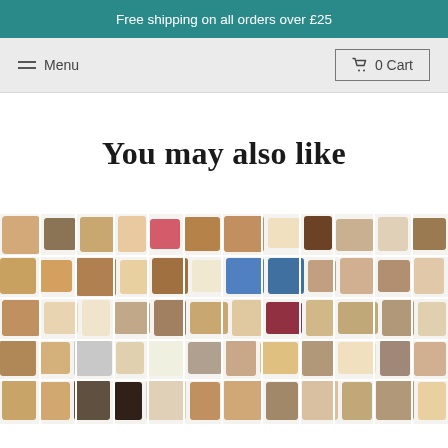Free shipping on all orders over £25
≡ Menu
🛒 0 Cart
You may also like
[Figure (photo): Large collage of many different dog breeds, arranged in rows filling the bottom portion of the page. Dogs of various sizes, colors, and breeds photographed against white backgrounds, densely packed together.]